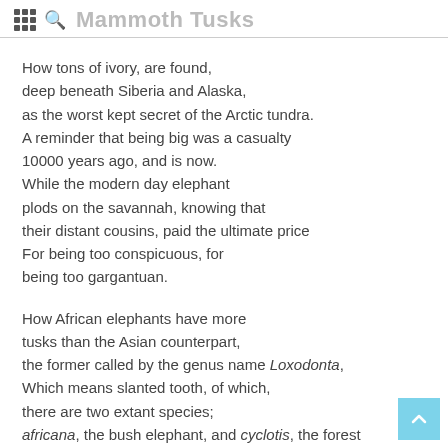Woolly Mammoth Tusks
How tons of ivory, are found,
deep beneath Siberia and Alaska,
as the worst kept secret of the Arctic tundra.
A reminder that being big was a casualty
10000 years ago, and is now.
While the modern day elephant
plods on the savannah, knowing that
their distant cousins, paid the ultimate price
For being too conspicuous, for
being too gargantuan.
How African elephants have more
tusks than the Asian counterpart,
the former called by the genus name Loxodonta,
Which means slanted tooth, of which,
there are two extant species;
africana, the bush elephant, and cyclotis, the forest elephant.